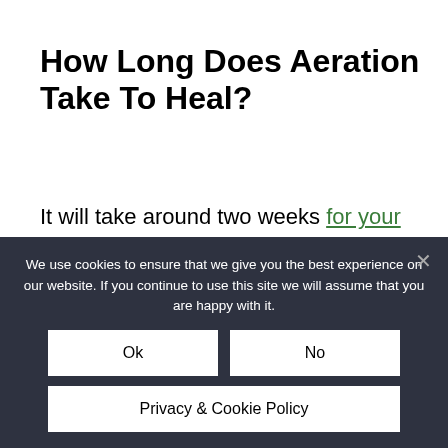How Long Does Aeration Take To Heal?
It will take around two weeks for your lawn to heal after aeration.
You could say that it will take two weeks before you start to notice any significant improvement in your lawn. For complete healing, it might take two to five
We use cookies to ensure that we give you the best experience on our website. If you continue to use this site we will assume that you are happy with it.
Ok
No
Privacy & Cookie Policy